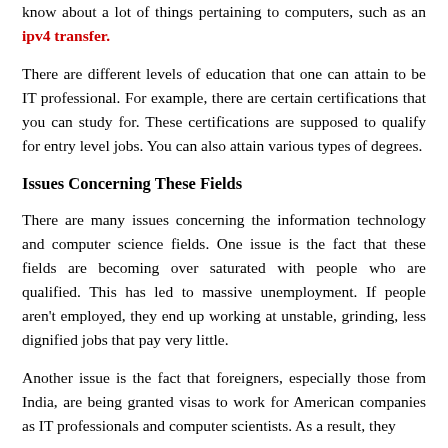know about a lot of things pertaining to computers, such as an ipv4 transfer.
There are different levels of education that one can attain to be IT professional. For example, there are certain certifications that you can study for. These certifications are supposed to qualify for entry level jobs. You can also attain various types of degrees.
Issues Concerning These Fields
There are many issues concerning the information technology and computer science fields. One issue is the fact that these fields are becoming over saturated with people who are qualified. This has led to massive unemployment. If people aren't employed, they end up working at unstable, grinding, less dignified jobs that pay very little.
Another issue is the fact that foreigners, especially those from India, are being granted visas to work for American companies as IT professionals and computer scientists. As a result, they